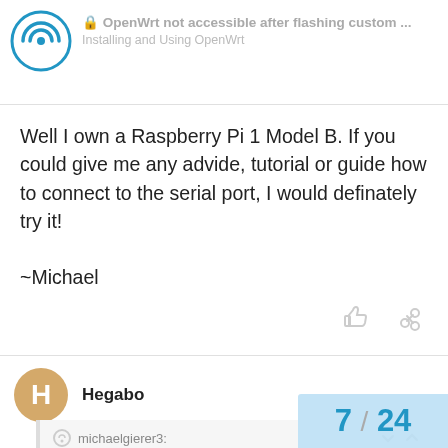OpenWrt not accessible after flashing custom ... | Installing and Using OpenWrt
Well I own a Raspberry Pi 1 Model B. If you could give me any advide, tutorial or guide how to connect to the serial port, I would definately try it!

~Michael
Hegabo Jan '20
michaelgierer3:
I own a Raspberry Pi 1 Model B. If you could give me any advide
Well, I haven't tried it myself, although I need to do it sometime soon. If you search the forum or the interne something. But basically you will connect t
7 / 24